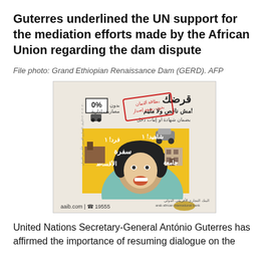Guterres underlined the UN support for the mediation efforts made by the African Union regarding the dam dispute
File photo: Grand Ethiopian Renaissance Dam (GERD). AFP
[Figure (illustration): Advertisement for Arab African International Bank showing a woman looking up in surprise surrounded by Arabic text about loans, 0% interest, aaib.com | 19555]
United Nations Secretary-General António Guterres has affirmed the importance of resuming dialogue on the